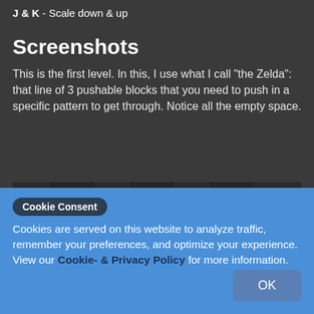J & K - Scale down & up
Screenshots
This is the first level. In this, I use what I call "the Zelda": that line of 3 pushable blocks that you need to push in a specific pattern to get through. Notice all the empty space.
[Figure (screenshot): Pixel-art game screenshot showing a dungeon level with brick walls, pink/light floor tiles, a character sprite, and movable blocks.]
Cookie Consent
Cookies are served on this website to analyze traffic, remember your preferences, and optimize your experience. View our Cookie- & Privacy Policy for more information.